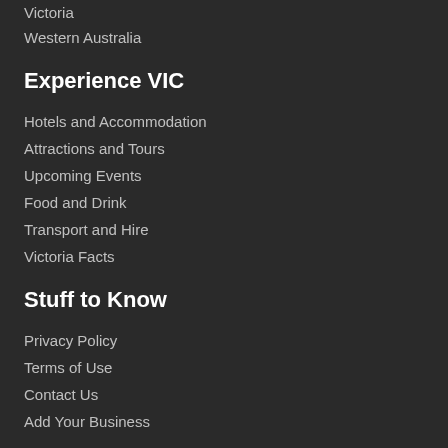Victoria
Western Australia
Experience VIC
Hotels and Accommodation
Attractions and Tours
Upcoming Events
Food and Drink
Transport and Hire
Victoria Facts
Stuff to Know
Privacy Policy
Terms of Use
Contact Us
Add Your Business
Follow Us
[Figure (other): Social media buttons: Facebook (blue), Twitter (light blue), Pinterest (pink/red)]